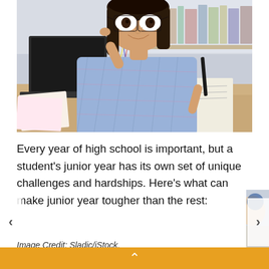[Figure (photo): A teenage girl with glasses smiling and studying at a desk with a laptop, open books, and pencils/pens in a cup holder in front of a bookshelf]
Every year of high school is important, but a student's junior year has its own set of unique challenges and hardships. Here's what can make junior year tougher than the rest:
Image Credit: Sladic/iStock.
^